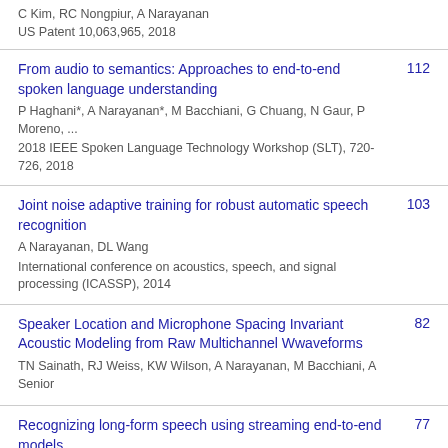C Kim, RC Nongpiur, A Narayanan
US Patent 10,063,965, 2018
From audio to semantics: Approaches to end-to-end spoken language understanding | 112
P Haghani*, A Narayanan*, M Bacchiani, G Chuang, N Gaur, P Moreno, ...
2018 IEEE Spoken Language Technology Workshop (SLT), 720-726, 2018
Joint noise adaptive training for robust automatic speech recognition | 103
A Narayanan, DL Wang
International conference on acoustics, speech, and signal processing (ICASSP), 2014
Speaker Location and Microphone Spacing Invariant Acoustic Modeling from Raw Multichannel Wwaveforms | 82
TN Sainath, RJ Weiss, KW Wilson, A Narayanan, M Bacchiani, A Senior
Recognizing long-form speech using streaming end-to-end models | 77